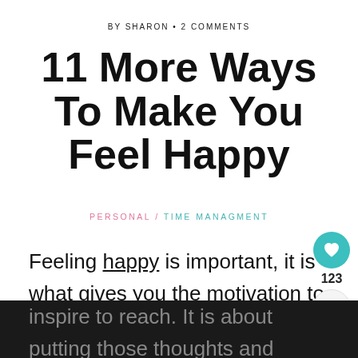BY SHARON • 2 COMMENTS
11 More Ways To Make You Feel Happy
PERSONAL / TIME MANAGMENT
Feeling happy is important, it is what gives you the motivation to move forward in your life and head towards the goals that you inspire to reach. It is about putting those thoughts and feelings at the forefront of your